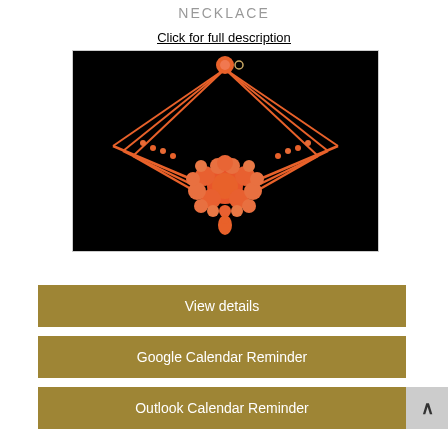NECKLACE
Click for full description
[Figure (photo): A coral bead necklace with a floral cluster pendant featuring a central large coral cabochon surrounded by smaller coral beads, with a teardrop drop, and three-strand cord chains, photographed on a black background.]
View details
Google Calendar Reminder
Outlook Calendar Reminder